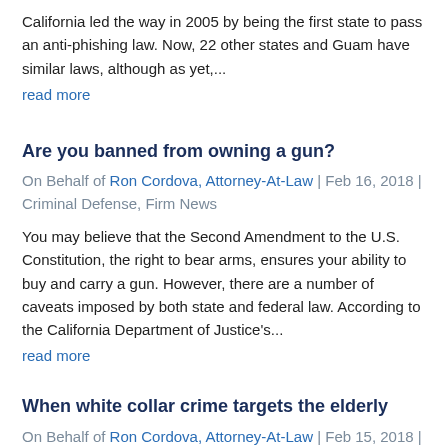California led the way in 2005 by being the first state to pass an anti-phishing law. Now, 22 other states and Guam have similar laws, although as yet,...
read more
Are you banned from owning a gun?
On Behalf of Ron Cordova, Attorney-At-Law | Feb 16, 2018 | Criminal Defense, Firm News
You may believe that the Second Amendment to the U.S. Constitution, the right to bear arms, ensures your ability to buy and carry a gun. However, there are a number of caveats imposed by both state and federal law. According to the California Department of Justice's...
read more
When white collar crime targets the elderly
On Behalf of Ron Cordova, Attorney-At-Law | Feb 15, 2018 |